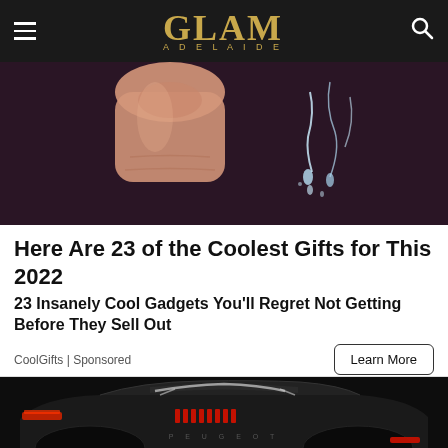GLAM ADELAIDE
[Figure (photo): Close-up of a finger touching or dripping water, dark purple/mauve background]
Here Are 23 of the Coolest Gifts for This 2022
23 Insanely Cool Gadgets You'll Regret Not Getting Before They Sell Out
CoolGifts | Sponsored
[Figure (photo): Rear three-quarter view of a matte black Peugeot concept car with red accent lighting]